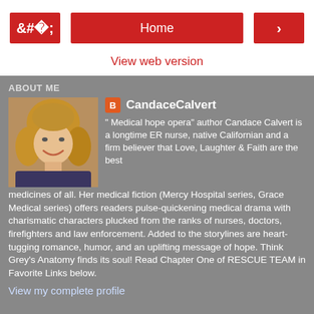< Home >
View web version
ABOUT ME
[Figure (photo): Portrait photo of Candace Calvert, a woman with blonde hair, smiling]
CandaceCalvert
" Medical hope opera" author Candace Calvert is a longtime ER nurse, native Californian and a firm believer that Love, Laughter & Faith are the best medicines of all. Her medical fiction (Mercy Hospital series, Grace Medical series) offers readers pulse-quickening medical drama with charismatic characters plucked from the ranks of nurses, doctors, firefighters and law enforcement. Added to the storylines are heart-tugging romance, humor, and an uplifting message of hope. Think Grey's Anatomy finds its soul! Read Chapter One of RESCUE TEAM in Favorite Links below.
View my complete profile
Powered by Blogger.